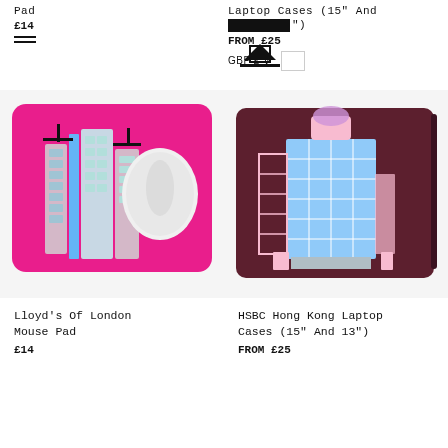Pad
£14
Laptop Cases (15" And
[REDACTED]")
FROM £25
GBP £ ∨
[Figure (photo): Pink mouse pad with architectural illustration of Lloyd's of London building, with a white Apple Magic Mouse on the top right]
[Figure (photo): Dark maroon laptop case with illustration of HSBC Hong Kong building in pink and blue tones]
Lloyd's Of London
Mouse Pad
£14
HSBC Hong Kong Laptop
Cases (15" And 13")
FROM £25